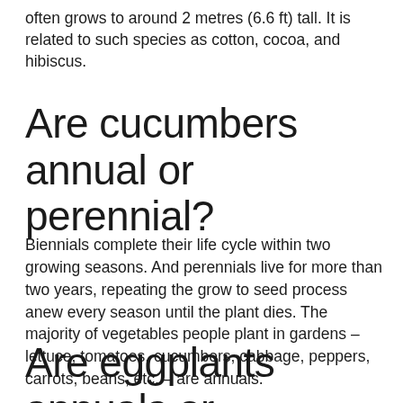often grows to around 2 metres (6.6 ft) tall. It is related to such species as cotton, cocoa, and hibiscus.
Are cucumbers annual or perennial?
Biennials complete their life cycle within two growing seasons. And perennials live for more than two years, repeating the grow to seed process anew every season until the plant dies. The majority of vegetables people plant in gardens – lettuce, tomatoes, cucumbers, cabbage, peppers, carrots, beans, etc. – are annuals.
Are eggplants annuals or